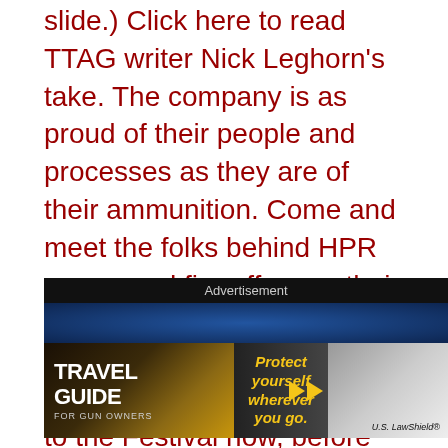slide.) Click here to read TTAG writer Nick Leghorn's take. The company is as proud of their people and processes as they are of their ammunition. Come and meet the folks behind HPR ammo and fire off some their ammunition at the 2015 Texas Firearms Festival. Click here to buy your tickets to the Festival now, before the prices rise (again) and they sell out.
[Figure (other): Advertisement banner for Travel Guide for Gun Owners featuring U.S. LawShield with text 'Protect yourself wherever you go.' and forward arrow icons on a dark background.]